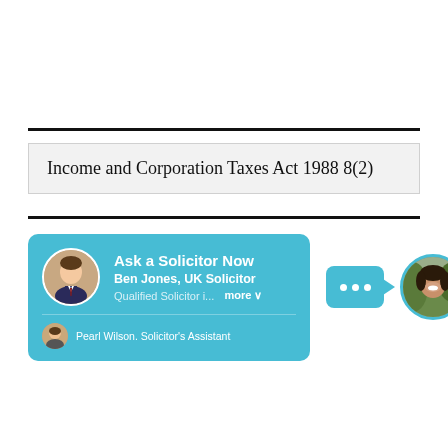Income and Corporation Taxes Act 1988 8(2)
[Figure (screenshot): Ask a Solicitor Now widget showing Ben Jones UK Solicitor with photo and Pearl Wilson Solicitor's Assistant, and a chat bubble with a woman's photo on the right]